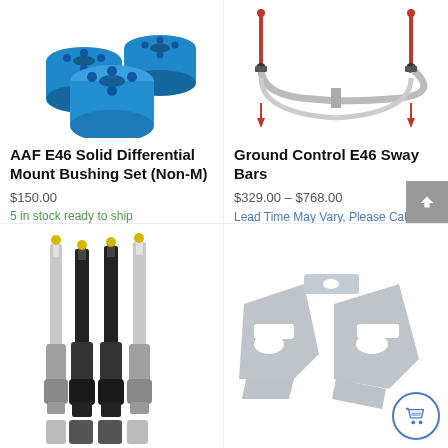[Figure (photo): Blue solid differential mount bushings set, three cylindrical blue polyurethane pieces]
AAF E46 Solid Differential Mount Bushing Set (Non-M)
$150.00
5 in stock ready to ship
[Figure (photo): Ground Control E46 sway bar, silver metal bar with red end links]
Ground Control E46 Sway Bars
$329.00 – $768.00
Lead Time May Vary, Please Call.
[Figure (photo): Four shock absorbers/struts, two chrome and two black, standing upright]
[Figure (photo): Grey metal mounting brackets/plates with cut-out holes, triangular shapes]